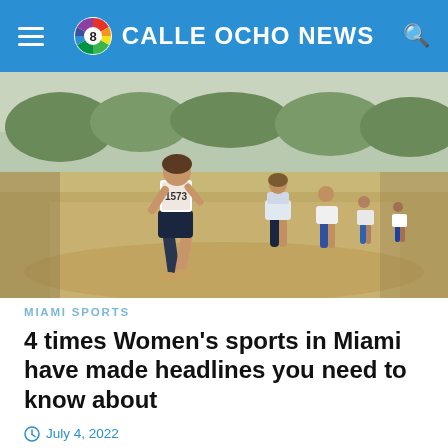CALLE OCHO NEWS
[Figure (photo): Female runner wearing bib number 1573 running on a dirt path during a race, with other runners behind her.]
MIAMI SPORTS
4 times Women's sports in Miami have made headlines you need to know about
July 4, 2022
Miami has been home to some of the greatest female athletes and women's sports teams in the country, and here are some notable achievements over the...